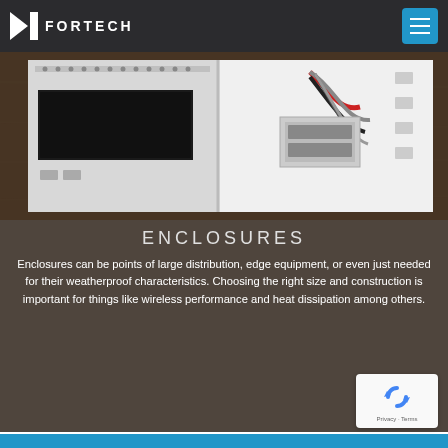FORTECH
[Figure (photo): Open electrical enclosure showing internal components — a dark display panel on the left section and wiring/components on the right section, photographed against a dark wooden surface background]
ENCLOSURES
Enclosures can be points of large distribution, edge equipment, or even just needed for their weatherproof characteristics. Choosing the right size and construction is important for things like wireless performance and heat dissipation among others.
[Figure (logo): Google reCAPTCHA badge showing the reCAPTCHA logo and Privacy - Terms links]